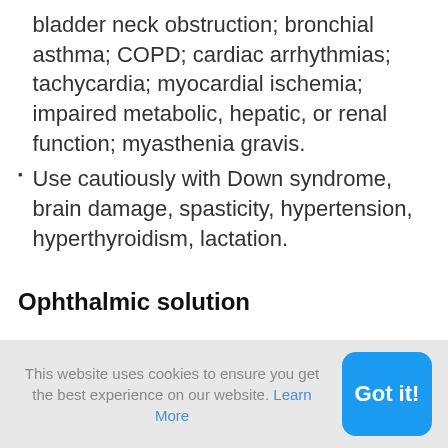bladder neck obstruction; bronchial asthma; COPD; cardiac arrhythmias; tachycardia; myocardial ischemia; impaired metabolic, hepatic, or renal function; myasthenia gravis.
Use cautiously with Down syndrome, brain damage, spasticity, hypertension, hyperthyroidism, lactation.
Ophthalmic solution
Contraindicated with glaucoma or tendency to glaucoma.
This website uses cookies to ensure you get the best experience on our website. Learn More